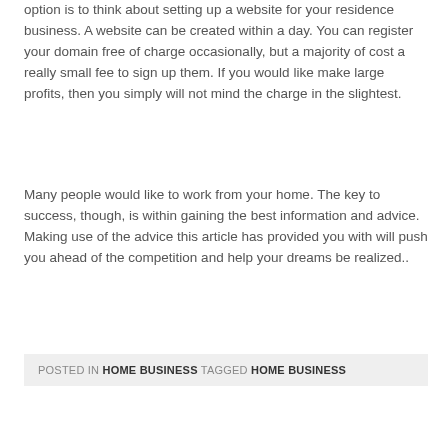option is to think about setting up a website for your residence business. A website can be created within a day. You can register your domain free of charge occasionally, but a majority of cost a really small fee to sign up them. If you would like make large profits, then you simply will not mind the charge in the slightest.
Many people would like to work from your home. The key to success, though, is within gaining the best information and advice. Making use of the advice this article has provided you with will push you ahead of the competition and help your dreams be realized..
POSTED IN HOME BUSINESS TAGGED HOME BUSINESS